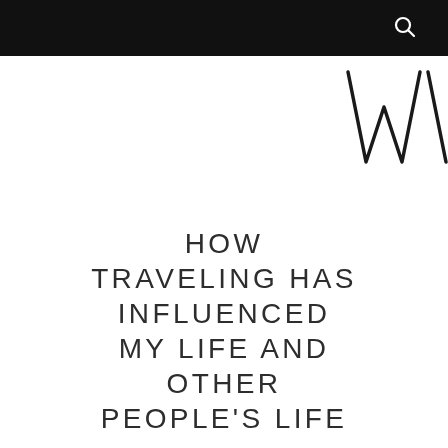[Figure (logo): Partial handwritten-style logo letters 'W' visible at top right corner of page]
HOW TRAVELING HAS INFLUENCED MY LIFE AND OTHER PEOPLE'S LIFE